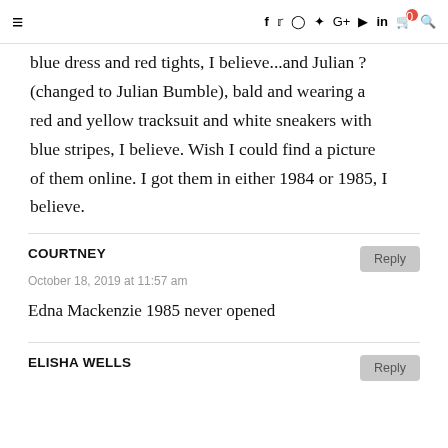≡  f  twitter  instagram  pinterest  G+  youtube  in  cart(0)  search
blue dress and red tights, I believe...and Julian ? (changed to Julian Bumble), bald and wearing a red and yellow tracksuit and white sneakers with blue stripes, I believe. Wish I could find a picture of them online. I got them in either 1984 or 1985, I believe.
COURTNEY
October 18, 2019 at 11:57 am
Edna Mackenzie 1985 never opened
ELISHA WELLS